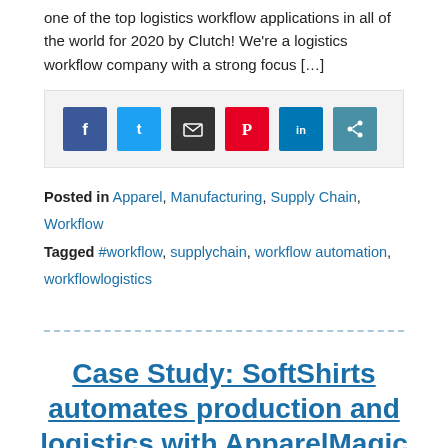one of the top logistics workflow applications in all of the world for 2020 by Clutch! We're a logistics workflow company with a strong focus […]
[Figure (infographic): Social sharing icon bar with Facebook, Twitter, Email, Pinterest, LinkedIn, and Share icons]
Posted in Apparel, Manufacturing, Supply Chain, Workflow
Tagged #workflow, supplychain, workflow automation, workflowlogistics
Case Study: SoftShirts automates production and logistics with ApparelMagic and